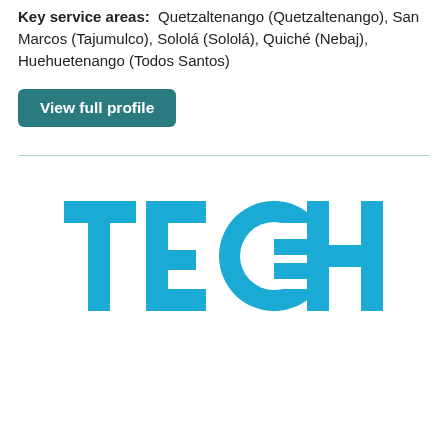Key service areas: Quetzaltenango (Quetzaltenango), San Marcos (Tajumulco), Sololá (Sololá), Quiché (Nebaj), Huehuetenango (Todos Santos)
View full profile
[Figure (logo): TECHO logo in blue with a house/arrow icon replacing the O]